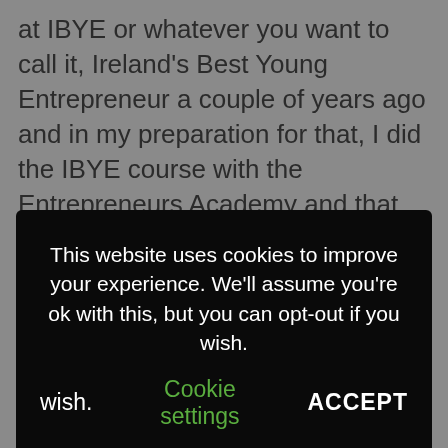at IBYE or whatever you want to call it, Ireland's Best Young Entrepreneur a couple of years ago and in my preparation for that, I did the IBYE course with the Entrepreneurs Academy and that really helped myself prepare for that competition, which really paid off for us.
This website uses cookies to improve your experience. We'll assume you're ok with this, but you can opt-out if you wish. Cookie settings ACCEPT
just a simple brewery idea. We were lucky enough to work with the Local Enterprise Office really close in Westmeath, they were brilliant. I cannot recommend them highly enough and what became clear from our feasibility study, the market was crowded, and shelf space was tight. It was really